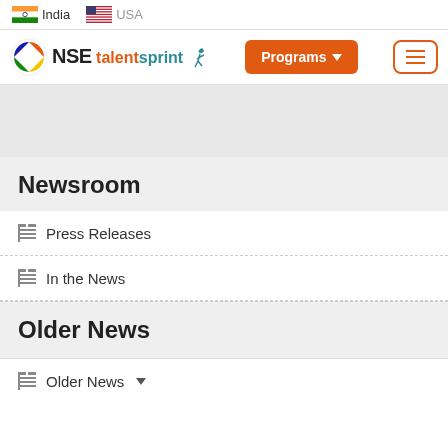India   USA
[Figure (logo): NSE TalentSprint logo with Programs button and hamburger menu]
Newsroom
Press Releases
In the News
Older News
Older News